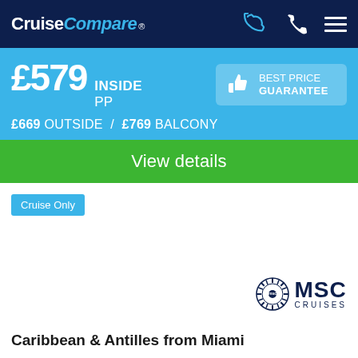CruiseCompare®
£579 INSIDE PP
BEST PRICE GUARANTEE
£669 OUTSIDE / £769 BALCONY
View details
Cruise Only
[Figure (logo): MSC Cruises logo with starburst emblem]
Caribbean & Antilles from Miami